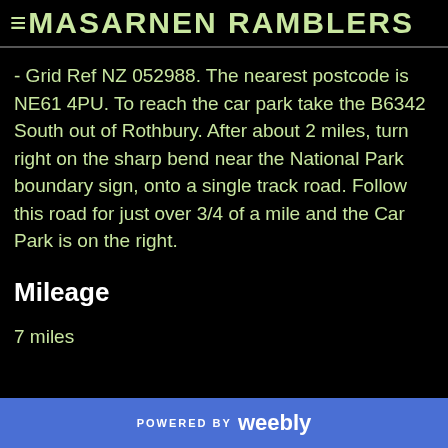≡ MASARNEN RAMBLERS
- Grid Ref NZ 052988. The nearest postcode is NE61 4PU. To reach the car park take the B6342 South out of Rothbury. After about 2 miles, turn right on the sharp bend near the National Park boundary sign, onto a single track road. Follow this road for just over 3/4 of a mile and the Car Park is on the right.
Mileage
7 miles
POWERED BY weebly